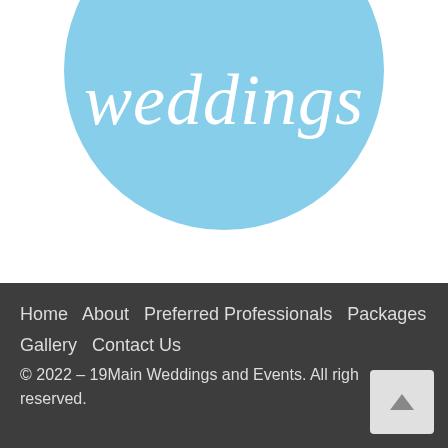[Figure (logo): Weddings logo — white italic serif text 'weddings' on a light blue circle, partially cropped at top of page]
1  2  3  Next
Home  About  Preferred Professionals  Packages  Gallery  Contact Us
© 2022 - 19Main Weddings and Events. All rights reserved.